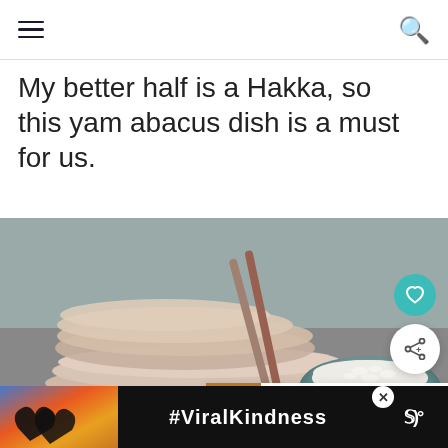Navigation header with hamburger menu and search icon
My better half is a Hakka, so this yam abacus dish is a must for us.
[Figure (photo): A blurred food photo showing stacked ceramic plates/discs (possibly yam abacus dumplings) in the foreground and a bowl of white rice in the background, muted teal/grey ceramic tones]
[Figure (infographic): What's Next panel showing a thumbnail of a food dish with text 'WHAT'S NEXT → Pengat Ubi and Pisang /...']
[Figure (infographic): Advertisement banner with #ViralKindness text, a silhouette of hands forming a heart shape, and a media logo]